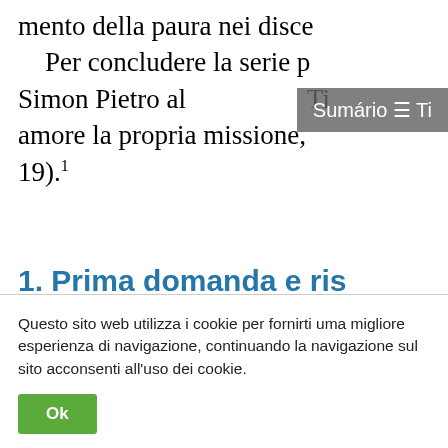mento della paura nei discepoli. Per concludere la serie di incontri, Simon Pietro al muro di Ti... amore la propria missione, 19).¹
1. Prima domanda e ris…
(Gv 21,15) Quand'ebber… tro: “Simone, figlio di G…
Questo sito web utilizza i cookie per fornirti uma migliore esperienza di navigazione, continuando la navigazione sul sito acconsenti all'uso dei cookie.
Ok